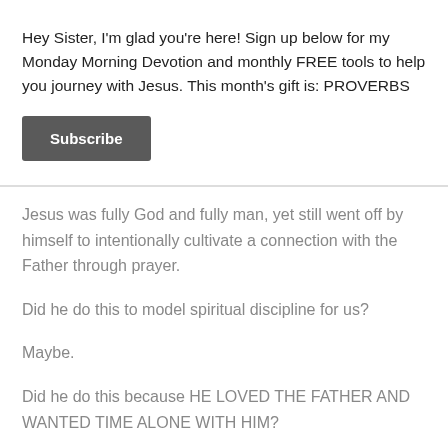Hey Sister, I'm glad you're here! Sign up below for my Monday Morning Devotion and monthly FREE tools to help you journey with Jesus. This month's gift is: PROVERBS
Subscribe
Jesus was fully God and fully man, yet still went off by himself to intentionally cultivate a connection with the Father through prayer.
Did he do this to model spiritual discipline for us?
Maybe.
Did he do this because HE LOVED THE FATHER AND WANTED TIME ALONE WITH HIM?